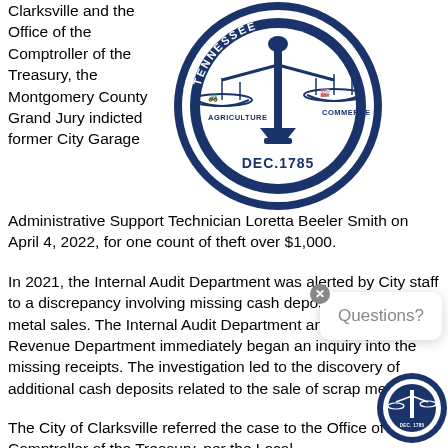Clarksville and the Office of the Comptroller of the Treasury, the Montgomery County Grand Jury indicted former City Garage Administrative Support Technician Loretta Beeler Smith on April 4, 2022, for one count of theft over $1,000.
[Figure (illustration): Seal of the State of Tennessee, circular seal showing scales of justice with Agriculture on the left side and Commerce on the right side, with text 'DEC. 1785' at the bottom and 'TENNESSEE' along the top.]
In 2021, the Internal Audit Department was alerted by City staff to a discrepancy involving missing cash deposits from scrap metal sales. The Internal Audit Department and the Finance & Revenue Department immediately began an inquiry into the missing receipts. The investigation led to the discovery of additional cash deposits related to the sale of scrap metal.
The City of Clarksville referred the case to the Office of the Comptroller of the Treasury, per the Local
[Figure (logo): City of Clarksville circular seal/logo in dark navy blue, small version in bottom right corner.]